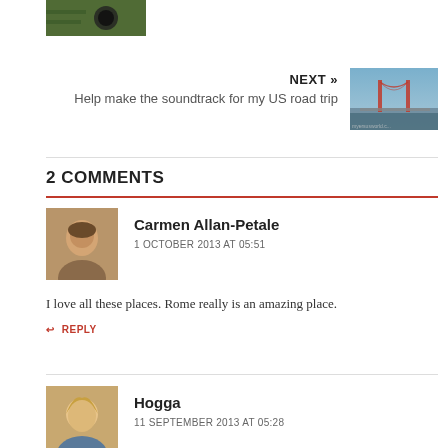[Figure (photo): Small avatar photo of a person with a camera, green tones]
NEXT »
Help make the soundtrack for my US road trip
[Figure (photo): Golden Gate Bridge photo with blue-grey sky]
2 COMMENTS
Carmen Allan-Petale
1 OCTOBER 2013 AT 05:51
[Figure (photo): Avatar of Carmen Allan-Petale, two people]
I love all these places. Rome really is an amazing place.
↩ REPLY
Hogga
11 SEPTEMBER 2013 AT 05:28
[Figure (photo): Avatar of Hogga, blonde woman smiling]